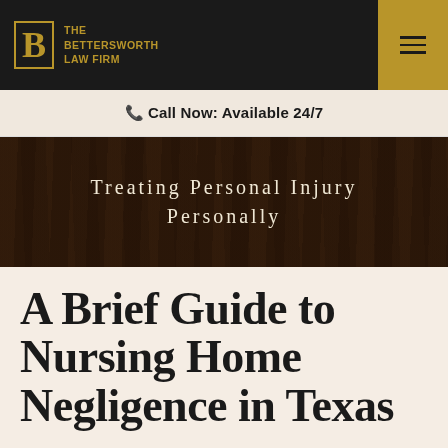[Figure (logo): The Bettersworth Law Firm logo — gold B in a box with firm name text, on dark background with gold hamburger menu button]
Call Now: Available 24/7
[Figure (photo): Dark wood plank background hero banner with text 'Treating Personal Injury Personally' in spaced serif letters]
A Brief Guide to Nursing Home Negligence in Texas